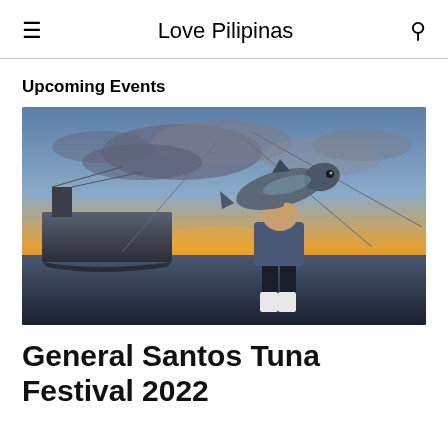Love Pilipinas
Upcoming Events
[Figure (photo): A fisherman carrying a large tuna fish on his shoulder at a harbor/dock with fishing boats and dramatic sunset sky in the background — General Santos Tuna Festival 2022 promotional image.]
General Santos Tuna Festival 2022